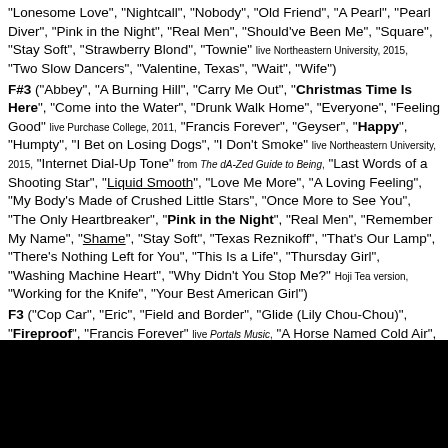"Lonesome Love", "Nightcall", "Nobody", "Old Friend", "A Pearl", "Pearl Diver", "Pink in the Night", "Real Men", "Should've Been Me", "Square", "Stay Soft", "Strawberry Blond", "Townie" live Northeastern University, 2015, "Two Slow Dancers", "Valentine, Texas", "Wait", "Wife")
F#3 ("Abbey", "A Burning Hill", "Carry Me Out", "Christmas Time Is Here", "Come into the Water", "Drunk Walk Home", "Everyone", "Feeling Good" live Purchase College, 2011, "Francis Forever", "Geyser", "Happy", "Humpty", "I Bet on Losing Dogs", "I Don't Smoke" live Northeastern University, 2015, "Internet Dial-Up Tone" from The dA-Zed Guide to Being, "Last Words of a Shooting Star", "Liquid Smooth", "Love Me More", "A Loving Feeling", "My Body's Made of Crushed Little Stars", "Once More to See You", "The Only Heartbreaker", "Pink in the Night", "Real Men", "Remember My Name", "Shame", "Stay Soft", "Texas Reznikoff", "That's Our Lamp", "There's Nothing Left for You", "This Is a Life", "Thursday Girl", "Washing Machine Heart", "Why Didn't You Stop Me?" Hoji Tea version, "Working for the Knife", "Your Best American Girl")
F3 ("Cop Car", "Eric", "Field and Border", "Glide (Lily Chou-Chou)", "Fireproof", "Francis Forever" live Portals Music, "A Horse Named Cold Air", "I Want You" live WMUC, 2015, "Last Words of a Shooting Star" live WMUC, 2015, "Love Me More" acoustic version, "Nightcall", "Nobody", "Old Friend", "Two Slow Dancers", "Valentine, Texas")
E3 ("The Baddy Man", "Bag of Bones", "A Burning Hill", "Carry Me Out", "Christmas Time Is Here", "Everyone", "Fireworks", "I Bet on Losing Dogs", "I'm a Fool to Want You", "This Is a Life")
Eb3 ("Valentine, Texas")